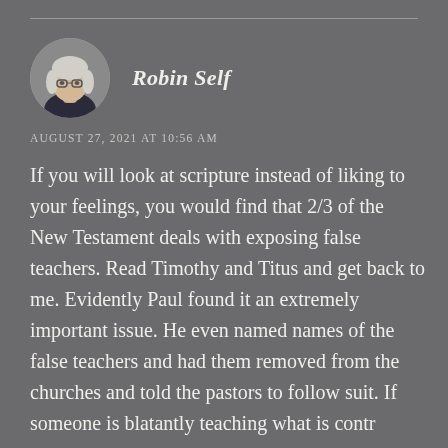Robin Self
AUGUST 27, 2021 AT 10:56 AM
If you will look at scripture instead of liking to your feelings, you would find that 2/3 of the New Testament deals with exposing false teachers. Read Timothy and Titus and get back to me. Evidently Paul found it an extremely important issue. He even named names of the false teachers and had them removed from the churches and told the pastors to follow suit. If someone is blatantly teaching what is contrary